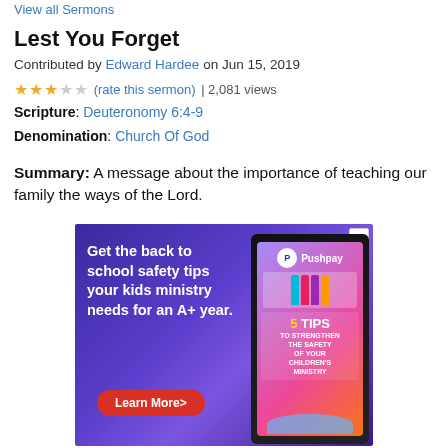View all Sermons
Lest You Forget
Contributed by Edward Hardee on Jun 15, 2019
★★★☆☆ (rate this sermon) | 2,081 views
Scripture: Deuteronomy 6:4-9
Denomination: Church Of God
Summary: A message about the importance of teaching our family the ways of the Lord.
[Figure (photo): Advertisement banner for Pushpay: 'Get the back to school safety tips your kids ministry needs for an A+ year.' with a Learn More button and imagery of a guide booklet listing 5 Tips to Strengthen the Safety of Your Children's Ministry.]